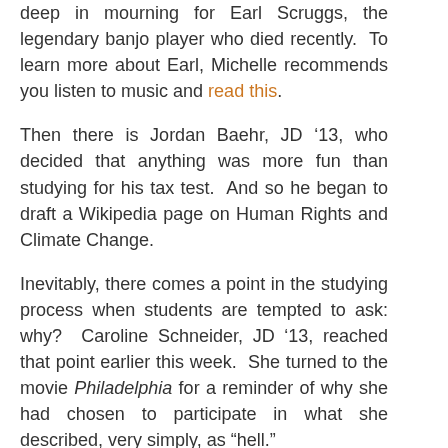deep in mourning for Earl Scruggs, the legendary banjo player who died recently.  To learn more about Earl, Michelle recommends you listen to music and read this.
Then there is Jordan Baehr, JD '13, who decided that anything was more fun than studying for his tax test.  And so he began to draft a Wikipedia page on Human Rights and Climate Change.
Inevitably, there comes a point in the studying process when students are tempted to ask: why?  Caroline Schneider, JD '13, reached that point earlier this week.  She turned to the movie Philadelphia for a reminder of why she had chosen to participate in what she described, very simply, as “hell.”
In the movie, Tom Hanks’ character explains the appeal of being a lawyer: “It’s that every now and again—not often, but occasionally—you get to be a part of justice being done.  That really is quite a thrill when that happens.”